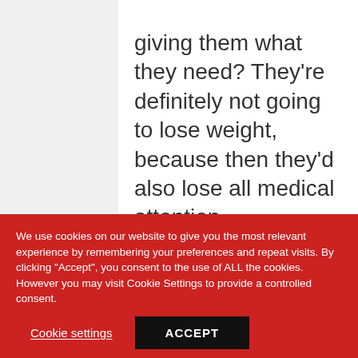giving them what they need? They're definitely not going to lose weight, because then they'd also lose all medical attention,
We use cookies on our website to give you the most relevant experience by remembering your preferences and repeat visits. By clicking "Accept", you consent to the use of ALL the cookies. However you may visit Cookie Settings to provide a controlled consent.